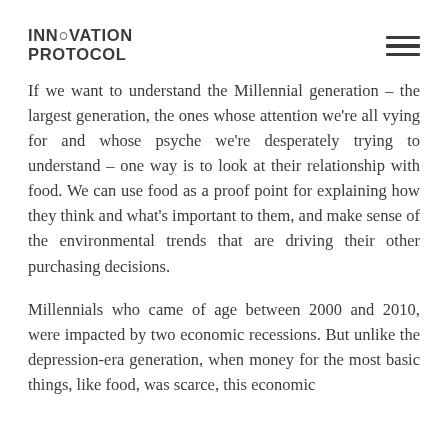INNOVATION PROTOCOL
If we want to understand the Millennial generation – the largest generation, the ones whose attention we're all vying for and whose psyche we're desperately trying to understand – one way is to look at their relationship with food. We can use food as a proof point for explaining how they think and what's important to them, and make sense of the environmental trends that are driving their other purchasing decisions.
Millennials who came of age between 2000 and 2010, were impacted by two economic recessions. But unlike the depression-era generation, when money for the most basic things, like food, was scarce, this economic